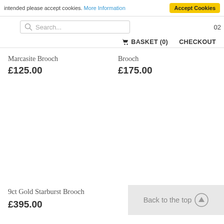intended please accept cookies. More Information | Accept Cookies
[Figure (screenshot): Search bar with magnifying glass icon and placeholder text 'Search...' with partial phone number '02' visible on right]
🛒 BASKET (0)   CHECKOUT
Marcasite Brooch
£125.00
Brooch
£175.00
9ct Gold Starburst Brooch
£395.00
Back to the top ↑